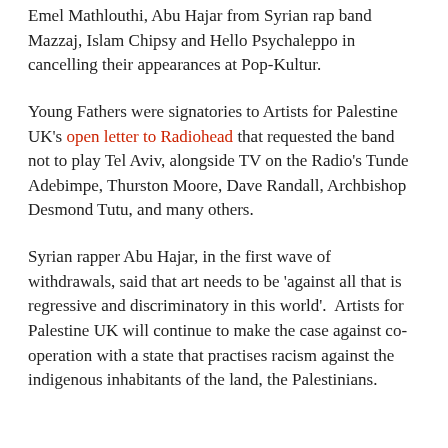Emel Mathlouthi, Abu Hajar from Syrian rap band Mazzaj, Islam Chipsy and Hello Psychaleppo in cancelling their appearances at Pop-Kultur.
Young Fathers were signatories to Artists for Palestine UK's open letter to Radiohead that requested the band not to play Tel Aviv, alongside TV on the Radio's Tunde Adebimpe, Thurston Moore, Dave Randall, Archbishop Desmond Tutu, and many others.
Syrian rapper Abu Hajar, in the first wave of withdrawals, said that art needs to be 'against all that is regressive and discriminatory in this world'.  Artists for Palestine UK will continue to make the case against co-operation with a state that practises racism against the indigenous inhabitants of the land, the Palestinians.